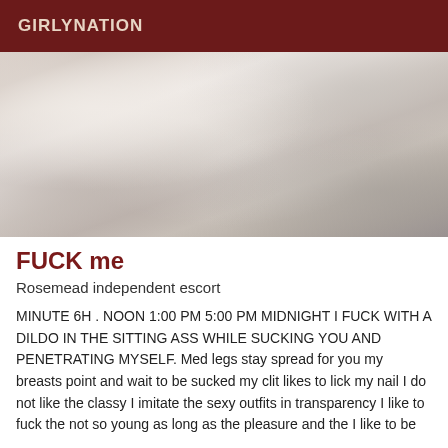GIRLYNATION
[Figure (photo): Black and white photograph showing a person lying on a bed]
FUCK me
Rosemead independent escort
MINUTE 6H . NOON 1:00 PM 5:00 PM MIDNIGHT I FUCK WITH A DILDO IN THE SITTING ASS WHILE SUCKING YOU AND PENETRATING MYSELF. Med legs stay spread for you my breasts point and wait to be sucked my clit likes to lick my nail I do not like the classy I imitate the sexy outfits in transparency I like to fuck the not so young as long as the pleasure and the I like to be